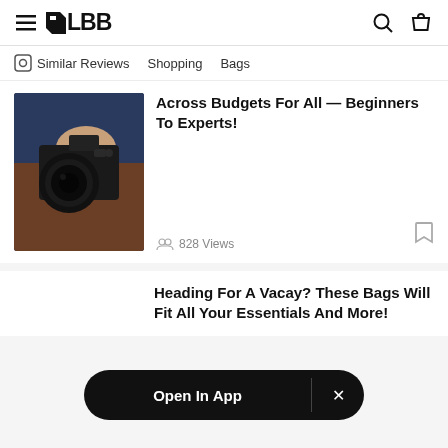≡ LBB (logo) [search] [bag]
Similar Reviews   Shopping   Bags
[Figure (photo): Person holding a black DSLR/mirrorless camera, wearing dark blue top and brown pants]
Across Budgets For All — Beginners To Experts!
828 Views
Heading For A Vacay? These Bags Will Fit All Your Essentials And More!
Open In App  ×